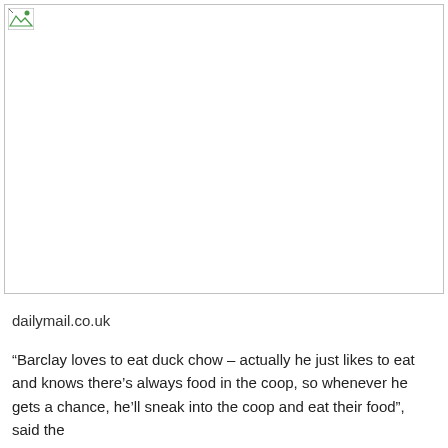[Figure (photo): Broken/missing image placeholder with image icon in top-left corner, spanning full width of page]
dailymail.co.uk
“Barclay loves to eat duck chow – actually he just likes to eat and knows there’s always food in the coop, so whenever he gets a chance, he’ll sneak into the coop and eat their food”, said the